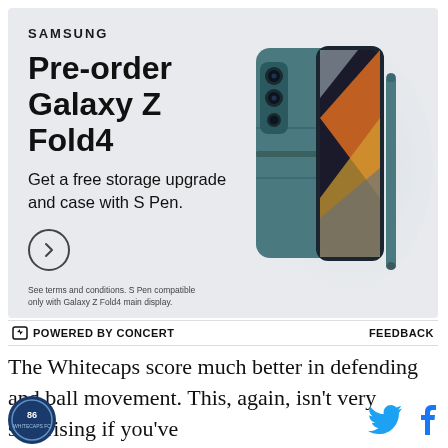[Figure (illustration): Samsung advertisement for Galaxy Z Fold4 pre-order. Shows Samsung logo, headline 'Pre-order Galaxy Z Fold4', subtext 'Get a free storage upgrade and case with S Pen.', a circular arrow button, fine print, and a product photo of the teal Galaxy Z Fold4 folded phone with S Pen.]
⚡ POWERED BY CONCERT   FEEDBACK
The Whitecaps score much better in defending and ball movement. This, again, isn't very surprising if you've
[Figure (logo): Whitecaps FC circular badge logo with number 86]
[Figure (illustration): Twitter bird icon in blue and Facebook 'f' icon in blue]